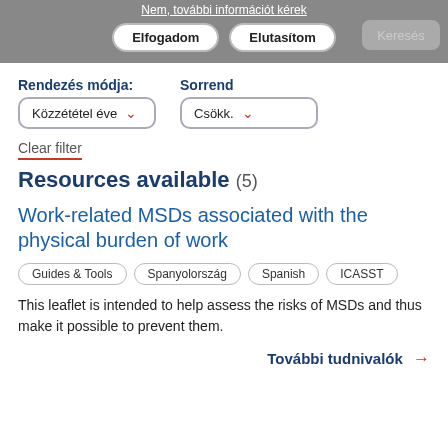Nem, további információt kérek
Elfogadom  Elutasítom  Keresés
Rendezés módja:   Sorrend
Közzététel éve ▾   Csökk. ▾
Clear filter
Resources available (5)
Work-related MSDs associated with the physical burden of work
Guides & Tools   Spanyolország   Spanish   ICASST
This leaflet is intended to help assess the risks of MSDs and thus make it possible to prevent them.
További tudnivalók →